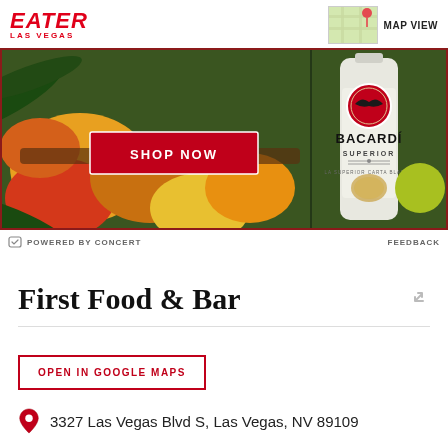EATER LAS VEGAS
[Figure (photo): Bacardi Superior rum advertisement banner with tropical fruits and palm leaves background, featuring a SHOP NOW button and Bacardi bottle]
POWERED BY CONCERT   FEEDBACK
First Food & Bar
OPEN IN GOOGLE MAPS
3327 Las Vegas Blvd S, Las Vegas, NV 89109